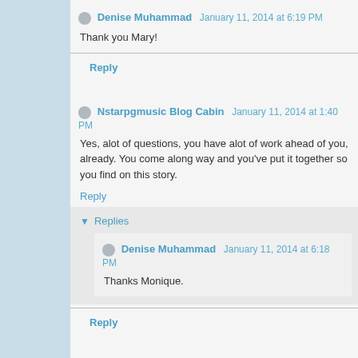Denise Muhammad  January 11, 2014 at 6:19 PM
Thank you Mary!
Reply
Nstarpgmusic Blog Cabin  January 11, 2014 at 1:40 PM
Yes, alot of questions, you have alot of work ahead of you, already. You come along way and you've put it together so you find on this story.
Reply
Replies
Denise Muhammad  January 11, 2014 at 6:18 PM
Thanks Monique.
Reply
Anonymous  January 11, 2014 at 3:11 PM